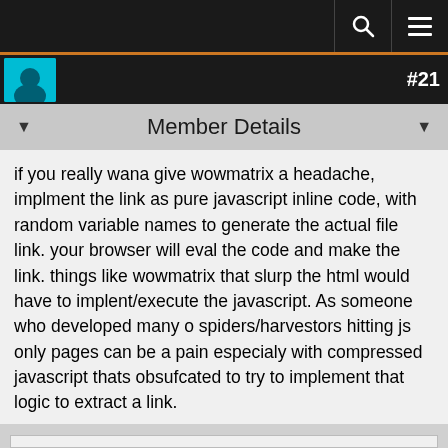Member Details #21
Member Details
if you really wana give wowmatrix a headache, implment the link as pure javascript inline code, with random variable names to generate the actual file link. your browser will eval the code and make the link. things like wowmatrix that slurp the html would have to implent/execute the javascript. As someone who developed many o spiders/harvestors hitting js only pages can be a pain especialy with compressed javascript thats obsufcated to try to implement that logic to extract a link.
Pure js inline generated links simply fail to be detected with a lot of the common HTML parsing tools they might use like mechanize or hpricot.